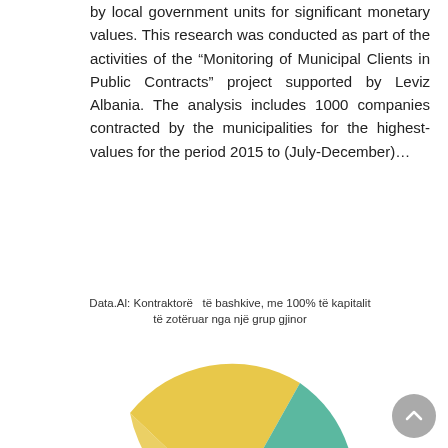by local government units for significant monetary values. This research was conducted as part of the activities of the "Monitoring of Municipal Clients in Public Contracts" project supported by Leviz Albania. The analysis includes 1000 companies contracted by the municipalities for the highest-values for the period 2015 to (July-December)…
[Figure (pie-chart): Pie chart partially visible at bottom of page showing segments in yellow/gold, teal/green, and red colors.]